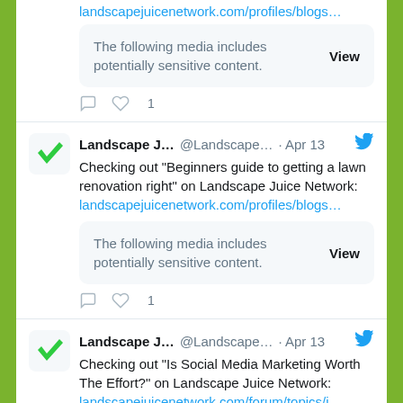landscapejuicenetwork.com/profiles/blogs...
The following media includes potentially sensitive content.
View
1
Landscape J... @Landscape... · Apr 13
Checking out "Beginners guide to getting a lawn renovation right" on Landscape Juice Network: landscapejuicenetwork.com/profiles/blogs...
The following media includes potentially sensitive content.
View
1
Landscape J... @Landscape... · Apr 13
Checking out "Is Social Media Marketing Worth The Effort?" on Landscape Juice Network: landscapejuicenetwork.com/forum/topics/i...